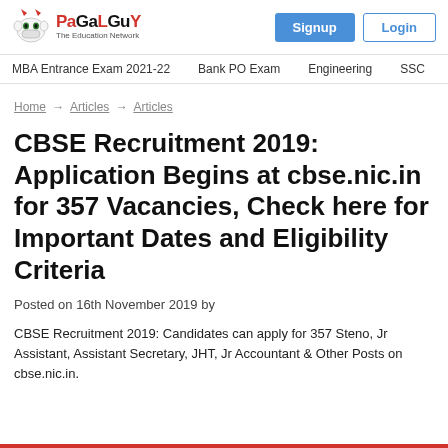PaGaLGuY - The Education Network | Signup | Login
MBA Entrance Exam 2021-22   Bank PO Exam   Engineering   SSC
Home → Articles → Articles
CBSE Recruitment 2019: Application Begins at cbse.nic.in for 357 Vacancies, Check here for Important Dates and Eligibility Criteria
Posted on 16th November 2019 by
CBSE Recruitment 2019: Candidates can apply for 357 Steno, Jr Assistant, Assistant Secretary, JHT, Jr Accountant & Other Posts on cbse.nic.in.